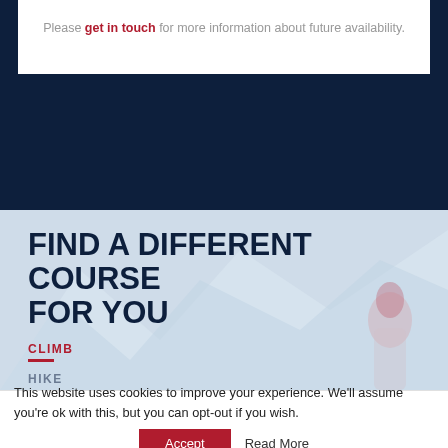Please get in touch for more information about future availability.
FIND A DIFFERENT COURSE FOR YOU
CLIMB
This website uses cookies to improve your experience. We'll assume you're ok with this, but you can opt-out if you wish.
Accept  Read More